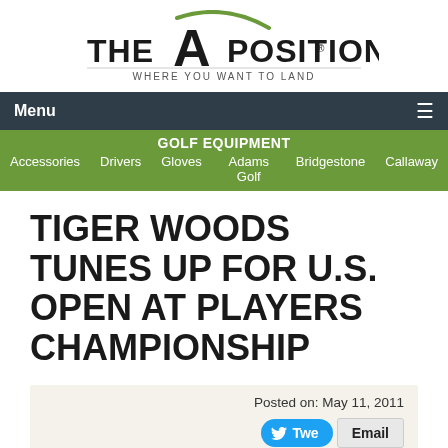[Figure (logo): The A Position logo with green arc and tagline 'WHERE YOU WANT TO LAND']
Menu
GOLF EQUIPMENT
Accessories   Drivers   Gloves   Adams Golf   Bridgestone   Callaway
TIGER WOODS TUNES UP FOR U.S. OPEN AT PLAYERS CHAMPIONSHIP
Posted on: May 11, 2011
[Figure (photo): Article image placeholder (broken image icon)]
If you buy into the